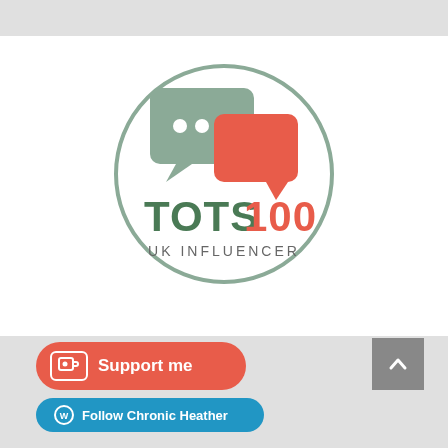[Figure (logo): TOTS100 UK Influencer logo: a circle border containing two overlapping speech bubbles (sage green and coral/red-orange), with text 'TOTS100' (green and orange) and 'UK INFLUENCER' below in gray.]
[Figure (logo): Ko-fi 'Support me' button: red/coral rounded rectangle with coffee cup icon and text 'Support me' in white.]
Follow Chronic Heather
[Figure (other): Gray scroll-to-top button with upward chevron arrow.]